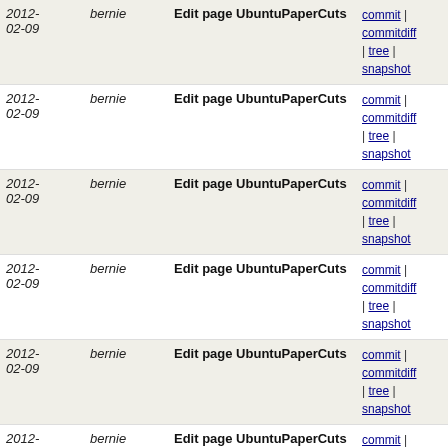| Date | Author | Description | Links |
| --- | --- | --- | --- |
| 2012-02-09 | bernie | Edit page UbuntuPaperCuts | commit | commitdiff | tree | snapshot |
| 2012-02-09 | bernie | Edit page UbuntuPaperCuts | commit | commitdiff | tree | snapshot |
| 2012-02-09 | bernie | Edit page UbuntuPaperCuts | commit | commitdiff | tree | snapshot |
| 2012-02-09 | bernie | Edit page UbuntuPaperCuts | commit | commitdiff | tree | snapshot |
| 2012-02-09 | bernie | Edit page UbuntuPaperCuts | commit | commitdiff | tree | snapshot |
| 2012-02-09 | bernie | Edit page UbuntuPaperCuts | commit | commitdiff | tree | snapshot |
| 2012-02-09 | bernie | Edit page UbuntuPaperCuts | commit | commitdiff | tree | snapshot |
| 2012-02-09 | bernie | Edit page UbuntuPaperCuts | commit | commitdiff | tree | snapshot |
| 2012-02-09 | bernie | Edit page MedicalRecords | commit | commitdiff | tree | snapshot |
| 2012-02-09 | bernie | Edit page MedicalRecords | commit | commitdiff | tree | snapshot |